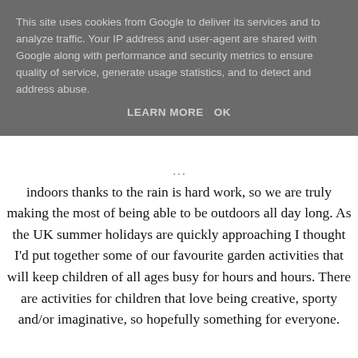This site uses cookies from Google to deliver its services and to analyze traffic. Your IP address and user-agent are shared with Google along with performance and security metrics to ensure quality of service, generate usage statistics, and to detect and address abuse.
LEARN MORE   OK
indoors thanks to the rain is hard work, so we are truly making the most of being able to be outdoors all day long. As the UK summer holidays are quickly approaching I thought I'd put together some of our favourite garden activities that will keep children of all ages busy for hours and hours. There are activities for children that love being creative, sporty and/or imaginative, so hopefully something for everyone.